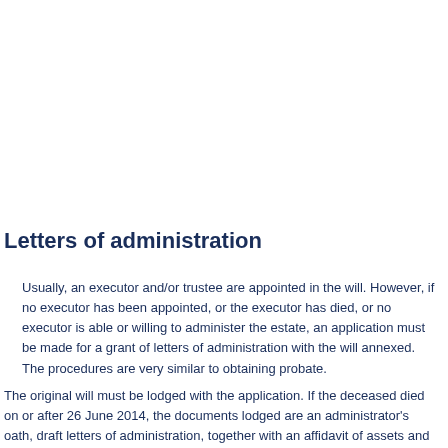Letters of administration
Usually, an executor and/or trustee are appointed in the will. However, if no executor has been appointed, or the executor has died, or no executor is able or willing to administer the estate, an application must be made for a grant of letters of administration with the will annexed. The procedures are very similar to obtaining probate.
The original will must be lodged with the application. If the deceased died on or after 26 June 2014, the documents lodged are an administrator's oath, draft letters of administration, together with an affidavit of assets and liabilities with a schedule of those